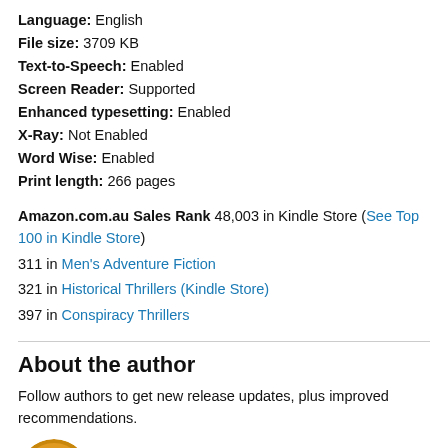Language: English
File size: 3709 KB
Text-to-Speech: Enabled
Screen Reader: Supported
Enhanced typesetting: Enabled
X-Ray: Not Enabled
Word Wise: Enabled
Print length: 266 pages
Amazon.com.au Sales Rank 48,003 in Kindle Store (See Top 100 in Kindle Store)
311 in Men's Adventure Fiction
321 in Historical Thrillers (Kindle Store)
397 in Conspiracy Thrillers
About the author
Follow authors to get new release updates, plus improved recommendations.
David Leadbeater